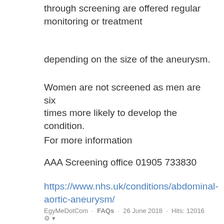through screening are offered regular monitoring or treatment
depending on the size of the aneurysm.
Women are not screened as men are six times more likely to develop the condition.
For more information
AAA Screening office 01905 733830
https://www.nhs.uk/conditions/abdominal-aortic-aneurysm/
Access my medical records
EgyMeDotCom · FAQs · 26 June 2018 · Hits: 12016